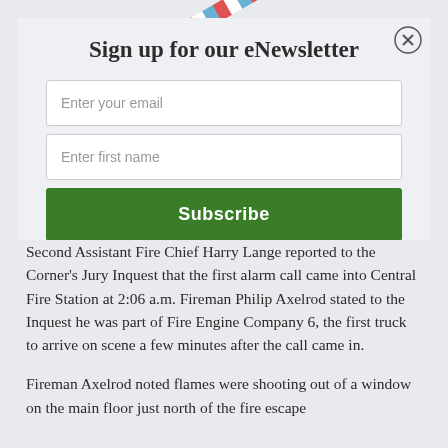[Figure (other): Diagonal red, white, and blue stripe border at the top of the page]
Sign up for our eNewsletter
Enter your email
Enter first name
Subscribe
Second Assistant Fire Chief Harry Lange reported to the Corner's Jury Inquest that the first alarm call came into Central Fire Station at 2:06 a.m. Fireman Philip Axelrod stated to the Inquest he was part of Fire Engine Company 6, the first truck to arrive on scene a few minutes after the call came in.
Fireman Axelrod noted flames were shooting out of a window on the main floor just north of the fire escape